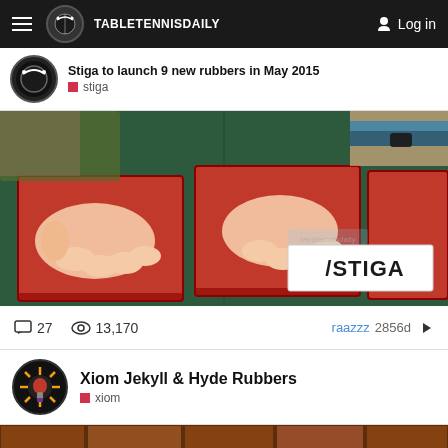TableTennisDaily — Log in
Stiga to launch 9 new rubbers in May 2015
stiga
[Figure (photo): Hands touching three red table tennis rubbers on a green table surface, with STIGA logo in bottom right corner]
27 comments · 13,170 views · raazzz 2856d
Xiom Jekyll & Hyde Rubbers
xiom
[Figure (photo): Bottom portion of article thumbnail showing brick/wood texture background]